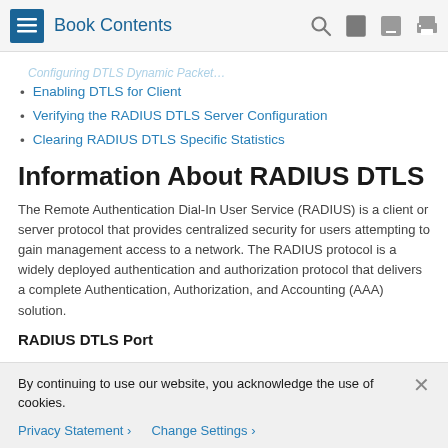Book Contents
Configuring DTLS Dynamic Packet (faded/truncated)
Enabling DTLS for Client
Verifying the RADIUS DTLS Server Configuration
Clearing RADIUS DTLS Specific Statistics
Information About RADIUS DTLS
The Remote Authentication Dial-In User Service (RADIUS) is a client or server protocol that provides centralized security for users attempting to gain management access to a network. The RADIUS protocol is a widely deployed authentication and authorization protocol that delivers a complete Authentication, Authorization, and Accounting (AAA) solution.
RADIUS DTLS Port
By continuing to use our website, you acknowledge the use of cookies.
Privacy Statement > Change Settings >